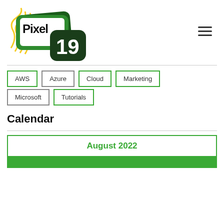[Figure (logo): Pixel 19 logo with green tablet/phone shapes and yellow scribble decoration, and a hamburger menu icon on the right]
AWS
Azure
Cloud
Marketing
Microsoft
Tutorials
Calendar
August 2022